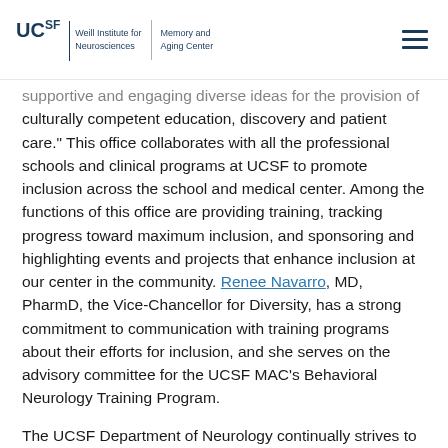UCSF Weill Institute for Neurosciences | Memory and Aging Center
supportive and engaging diverse ideas for the provision of culturally competent education, discovery and patient care." This office collaborates with all the professional schools and clinical programs at UCSF to promote inclusion across the school and medical center. Among the functions of this office are providing training, tracking progress toward maximum inclusion, and sponsoring and highlighting events and projects that enhance inclusion at our center in the community. Renee Navarro, MD, PharmD, the Vice-Chancellor for Diversity, has a strong commitment to communication with training programs about their efforts for inclusion, and she serves on the advisory committee for the UCSF MAC's Behavioral Neurology Training Program.
The UCSF Department of Neurology continually strives to broaden inclusion in our department through multiple